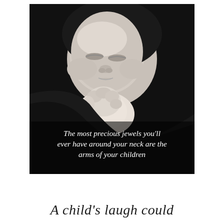[Figure (photo): Black and white photograph of a sleeping newborn baby with hands raised near face, wearing a dark hooded wrap. Overlaid text reads: 'The most precious jewels you'll ever have around your neck are the arms of your children']
A child's laugh could